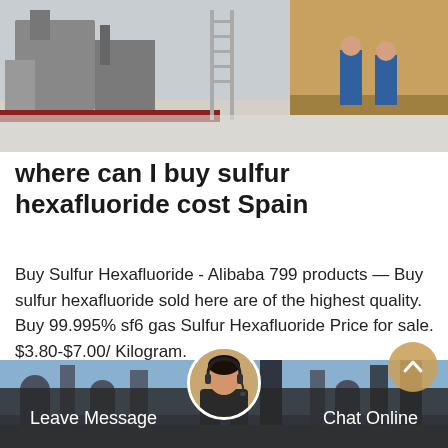[Figure (photo): Outdoor industrial scene showing machinery and workers in blue coveralls on a snowy/dusty ground with trucks or equipment in the background.]
where can I buy sulfur hexafluoride cost Spain
Buy Sulfur Hexafluoride - Alibaba 799 products — Buy sulfur hexafluoride sold here are of the highest quality. Buy 99.995% sf6 gas Sulfur Hexafluoride Price for sale. $3.80-$7.00/ Kilogram.
Get Price
[Figure (photo): Industrial facility with large cylindrical tanks and towers against a blue sky, partially overlaid by a dark bottom bar with chat agent.]
Leave Message
Chat Online